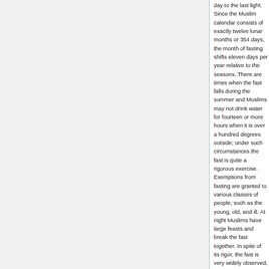day to the last light. Since the Muslim calendar consists of exactly twelve lunar months or 354 days, the month of fasting shifts eleven days per year relative to the seasons. There are times when the fast falls during the summer and Muslims may not drink water for fourteen or more hours when it is over a hundred degrees outside; under such circumstances the fast is quite a rigorous exercise. Exemptions from fasting are granted to various classes of people, such as the young, old, and ill. At night Muslims have large feasts and break the fast together. In spite of its rigor, the fast is very widely observed, more so than the obligatory prayers. It constitutes a mild form of asceticism, one which cannot do harm to the body if one is harmed, one should cease fasting and thus serves as a